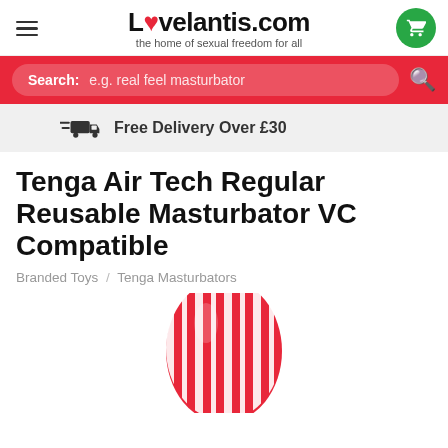Lovelantis.com — the home of sexual freedom for all
Search: e.g. real feel masturbator
Free Delivery Over £30
Tenga Air Tech Regular Reusable Masturbator VC Compatible
Branded Toys / Tenga Masturbators
[Figure (photo): Red and white striped Tenga Air Tech masturbator product photo]